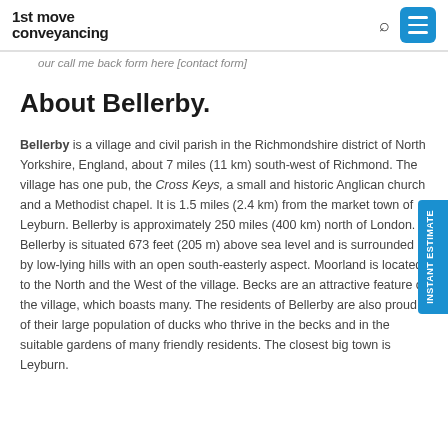1st move conveyancing
our call me back form here [contact form]
About Bellerby.
Bellerby is a village and civil parish in the Richmondshire district of North Yorkshire, England, about 7 miles (11 km) south-west of Richmond. The village has one pub, the Cross Keys, a small and historic Anglican church and a Methodist chapel. It is 1.5 miles (2.4 km) from the market town of Leyburn. Bellerby is approximately 250 miles (400 km) north of London. Bellerby is situated 673 feet (205 m) above sea level and is surrounded by low-lying hills with an open south-easterly aspect. Moorland is located to the North and the West of the village. Becks are an attractive feature of the village, which boasts many. The residents of Bellerby are also proud of their large population of ducks who thrive in the becks and in the suitable gardens of many friendly residents. The closest big town is Leyburn.